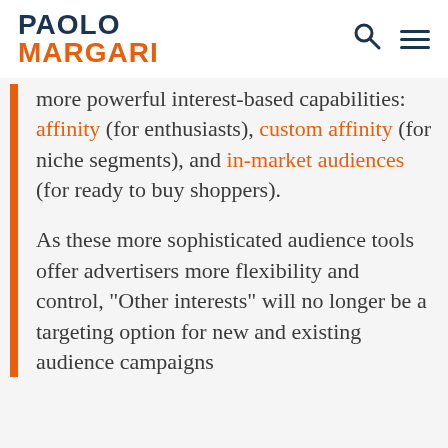PAOLO MARGARI
more powerful interest-based capabilities: affinity (for enthusiasts), custom affinity (for niche segments), and in-market audiences (for ready to buy shoppers).
As these more sophisticated audience tools offer advertisers more flexibility and control, “Other interests” will no longer be a targeting option for new and existing audience campaigns